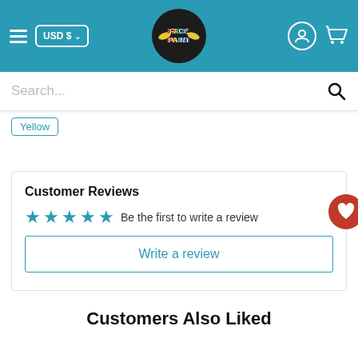[Figure (screenshot): FacePaint e-commerce website header with teal background, hamburger menu, USD $ currency selector, FacePaint logo, user icon, and cart icon]
[Figure (screenshot): Search bar with placeholder text 'Search...' and magnifying glass icon]
Yellow
Customer Reviews
☆☆☆☆☆ Be the first to write a review
Write a review
Customers Also Liked